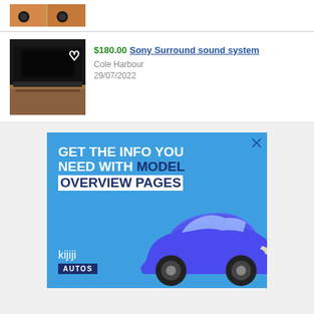[Figure (photo): Partial listing card showing product image (orange/brown items) at top, cropped]
[Figure (photo): Sony surround sound system product image - dark speaker/soundbar on wooden shelf]
$180.00 Sony Surround sound system
Cole Harbour
29/07/2022
[Figure (infographic): Kijiji Autos advertisement: blue background with white/dark text 'GET THE INFO YOU NEED WITH MODEL OVERVIEW PAGES', kijiji autos logo, blue Toyota Corolla car image]